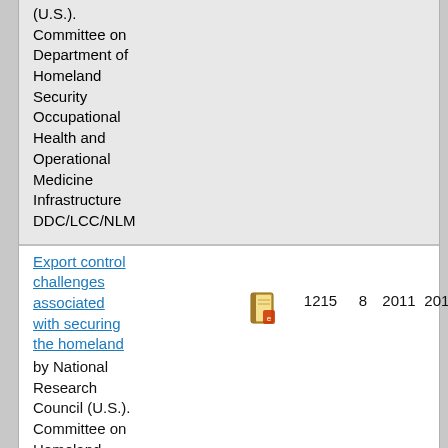(U.S.). Committee on Department of Homeland Security Occupational Health and Operational Medicine Infrastructure DDC/LCC/NLM
Export control challenges associated with securing the homeland by National Research Council (U.S.). Committee on Homeland Security and Export Controls DDC/LCC    1215    8    2011    2012